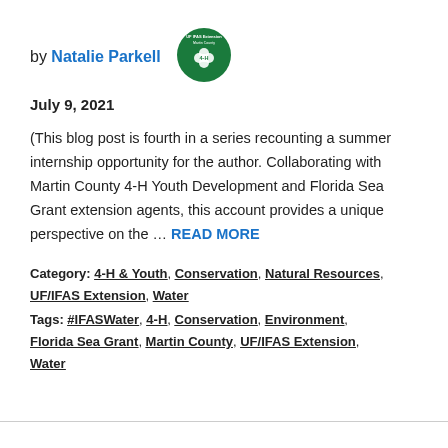by Natalie Parkell
[Figure (logo): UF IFAS Extension Martin County 4-H circular logo, green background with 4-H clover symbol]
July 9, 2021
(This blog post is fourth in a series recounting a summer internship opportunity for the author. Collaborating with Martin County 4-H Youth Development and Florida Sea Grant extension agents, this account provides a unique perspective on the … READ MORE
Category: 4-H & Youth, Conservation, Natural Resources, UF/IFAS Extension, Water
Tags: #IFASWater, 4-H, Conservation, Environment, Florida Sea Grant, Martin County, UF/IFAS Extension, Water